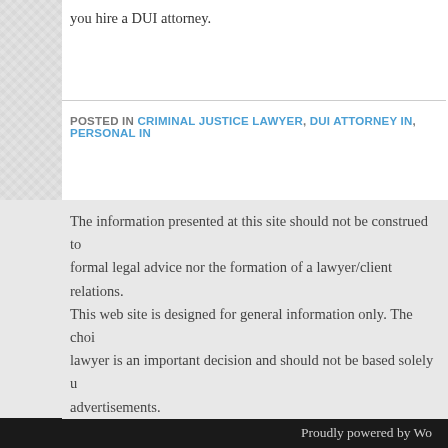you hire a DUI attorney.
POSTED IN CRIMINAL JUSTICE LAWYER, DUI ATTORNEY IN, PERSONAL IN
The information presented at this site should not be construed to formal legal advice nor the formation of a lawyer/client relations. This web site is designed for general information only. The choi lawyer is an important decision and should not be based solely u advertisements.
Proudly powered by Wo